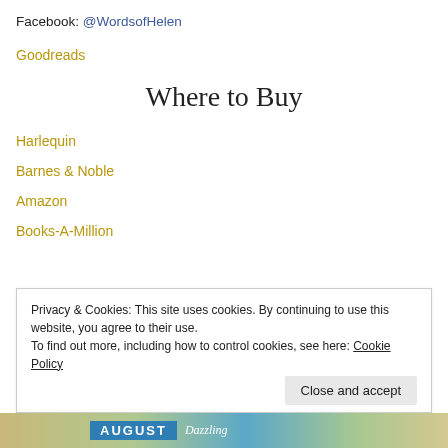Facebook: @WordsofHelen
Goodreads
Where to Buy
Harlequin
Barnes & Noble
Amazon
Books-A-Million
Privacy & Cookies: This site uses cookies. By continuing to use this website, you agree to their use.
To find out more, including how to control cookies, see here: Cookie Policy
[Figure (photo): Bottom strip showing partial book cover with AUGUST text and Dazzling text visible]